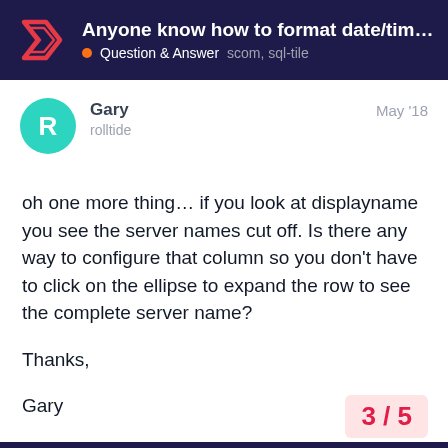Anyone know how to format date/tim... · Question & Answer  scom,  sql-tile
Gary
rolltide
May '18
oh one more thing... if you look at displayname you see the server names cut off. Is there any way to configure that column so you don't have to click on the ellipse to expand the row to see the complete server name?

Thanks,

Gary
3 / 5